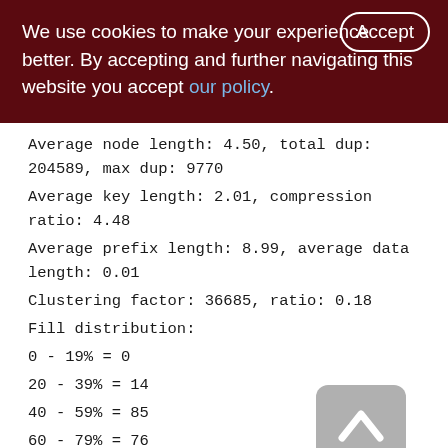We use cookies to make your experience better. By accepting and further navigating this website you accept our policy.
Average node length: 4.50, total dup: 204589, max dup: 9770
Average key length: 2.01, compression ratio: 4.48
Average prefix length: 8.99, average data length: 0.01
Clustering factor: 36685, ratio: 0.18
Fill distribution:
0 - 19% = 0
20 - 39% = 14
40 - 59% = 85
60 - 79% = 76